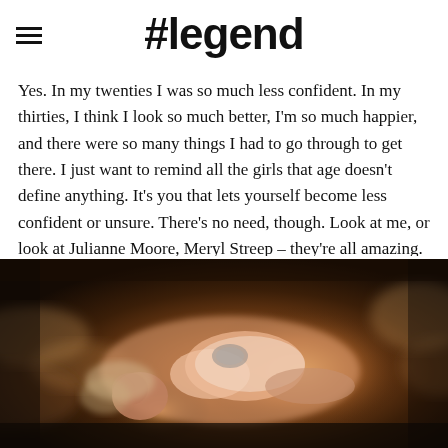#legend
Yes. In my twenties I was so much less confident. In my thirties, I think I look so much better, I'm so much happier, and there were so many things I had to go through to get there. I just want to remind all the girls that age doesn't define anything. It's you that lets yourself become less confident or unsure. There's no need, though. Look at me, or look at Julianne Moore, Meryl Streep – they're all amazing. You've just got to embrace it and live it.
[Figure (photo): A woman lying on her back on a dark textured surface, wearing a light-colored outfit with a large decorative necklace, surrounded by fluffy feathery material, photographed in dramatic warm lighting]